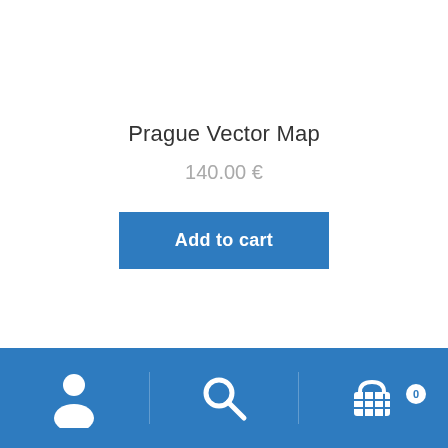Prague Vector Map
140.00 €
Add to cart
[Figure (screenshot): Bottom navigation bar with user/account icon, search icon, and shopping cart icon with badge showing 0]